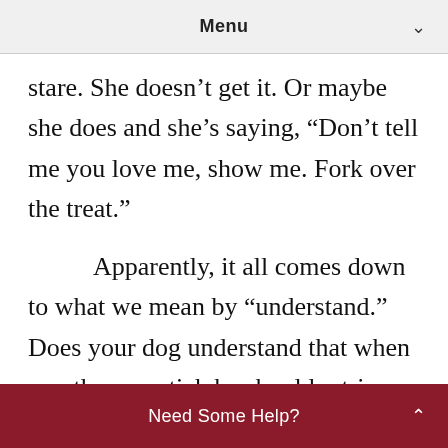Menu
stare. She doesn’t get it. Or maybe she does and she’s saying, “Don’t tell me you love me, show me. Fork over the treat.”
Apparently, it all comes down to what we mean by “understand.” Does your dog understand that when you throw a stick he should retrieve it? Yes. Does he know the reason you’re standing in the backyard on a Saturday afternoon throwing sticks is because
Need Some Help?